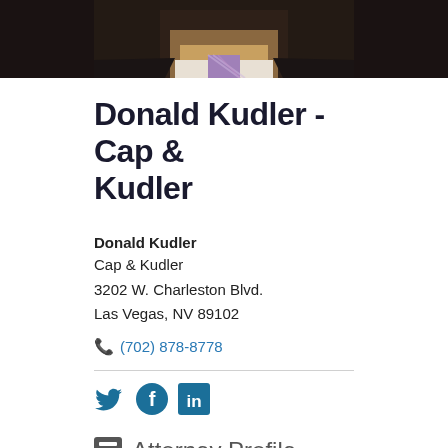[Figure (photo): Partial photo of Donald Kudler, attorney, showing lower face/neck area with striped tie, dark jacket]
Donald Kudler - Cap & Kudler
Donald Kudler
Cap & Kudler
3202 W. Charleston Blvd.
Las Vegas, NV 89102
(702) 878-8778
[Figure (infographic): Social media icons: Twitter bird, Facebook f, LinkedIn in]
Attorney Profile
Practice Areas